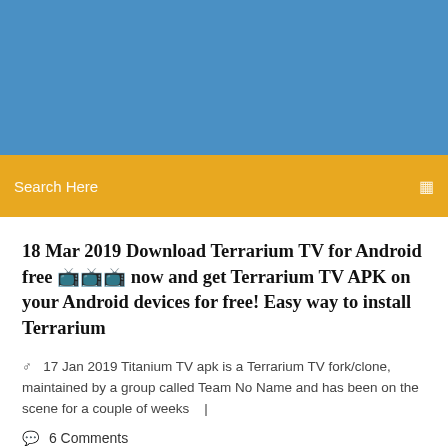[Figure (other): Blue banner/header image area at the top of the webpage]
Search Here
18 Mar 2019 Download Terrarium TV for Android free 📺📺📺 now and get Terrarium TV APK on your Android devices for free! Easy way to install Terrarium
17 Jan 2019 Titanium TV apk is a Terrarium TV fork/clone, maintained by a group called Team No Name and has been on the scene for a couple of weeks   |
6 Comments